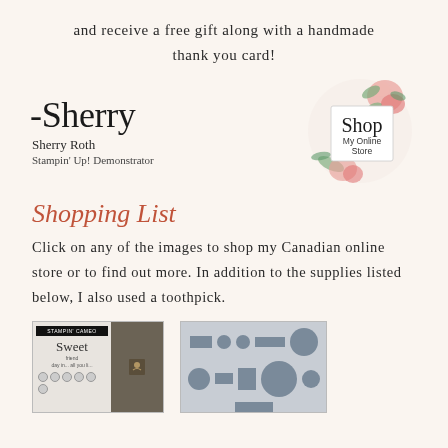and receive a free gift along with a handmade thank you card!
[Figure (illustration): Signature block with cursive '-Sherry' script, name 'Sherry Roth', title 'Stampin' Up! Demonstrator', and a floral shop badge on the right reading 'Shop My Online Store']
Shopping List
Click on any of the images to shop my Canadian online store or to find out more. In addition to the supplies listed below, I also used a toothpick.
[Figure (photo): Product image of a stamp set with cursive 'Sweet' text and card samples]
[Figure (photo): Product image of die cuts in various circle and rectangle shapes in blue-grey]